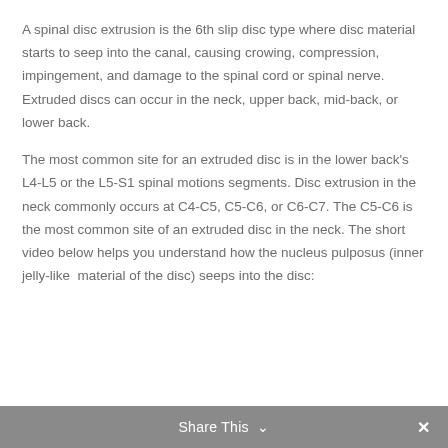A spinal disc extrusion is the 6th slip disc type where disc material starts to seep into the canal, causing crowing, compression, impingement, and damage to the spinal cord or spinal nerve. Extruded discs can occur in the neck, upper back, mid-back, or lower back.
The most common site for an extruded disc is in the lower back's L4-L5 or the L5-S1 spinal motions segments. Disc extrusion in the neck commonly occurs at C4-C5, C5-C6, or C6-C7. The C5-C6 is the most common site of an extruded disc in the neck. The short video below helps you understand how the nucleus pulposus (inner jelly-like material of the disc) seeps into the disc:
Share This ∨  ✕